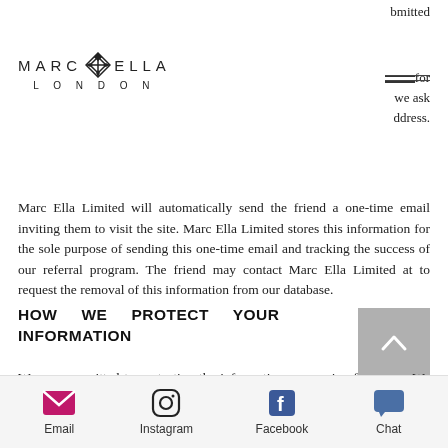bmitted
[Figure (logo): Marc Ella London logo with diamond/cross motif between MARC and ELLA text, LONDON below]
cos for
we ask
ddress.
Marc Ella Limited will automatically send the friend a one-time email inviting them to visit the site. Marc Ella Limited stores this information for the sole purpose of sending this one-time email and tracking the success of our referral program. The friend may contact Marc Ella Limited at to request the removal of this information from our database.
HOW WE PROTECT YOUR INFORMATION
We are committed to protecting the information we receive from you. We follow
Email  Instagram  Facebook  Chat